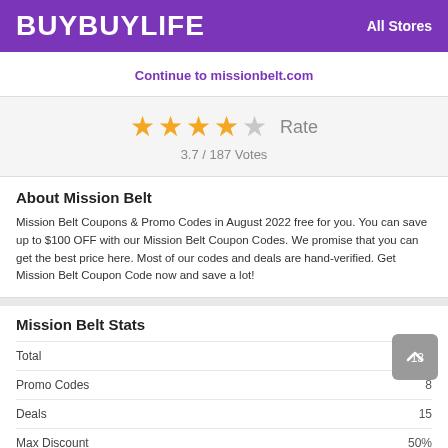BUYBUYLIFE   All Stores
Continue to missionbelt.com
[Figure (other): Star rating display: 4 filled stars and 1 empty star, labeled 'Rate', with score 3.7 / 187 Votes]
About Mission Belt
Mission Belt Coupons & Promo Codes in August 2022 free for you. You can save up to $100 OFF with our Mission Belt Coupon Codes. We promise that you can get the best price here. Most of our codes and deals are hand-verified. Get Mission Belt Coupon Code now and save a lot!
Mission Belt Stats
|  |  |
| --- | --- |
| Total | 13 |
| Promo Codes | 8 |
| Deals | 15 |
| Max Discount | 50% |
| Last Updated | August 2022 |